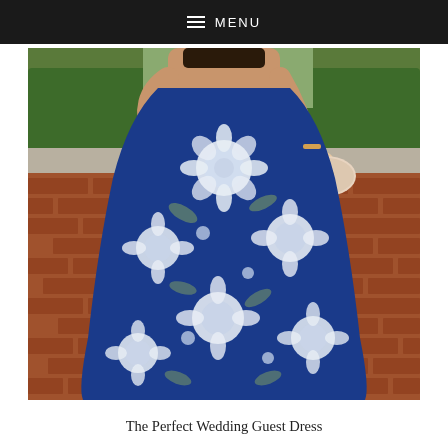≡ MENU
[Figure (photo): A woman wearing a navy blue floral maxi dress with white and light blue flower print, standing on a brick patio outdoors with green hedges in the background. She is holding a light pink/nude clutch purse.]
The Perfect Wedding Guest Dress